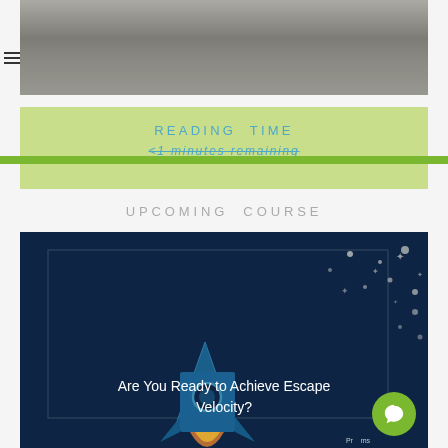[Figure (photo): Person standing in an office environment with desk and items in background, partially visible, muted tones]
READING TIME
<1 minutes remaining
UPCOMING COURSE
[Figure (illustration): Dark navy background with a blue cartoon rocket ship launching upward with stars and dots scattered around. Text overlay reads 'Are You Ready to Achieve Escape Velocity?']